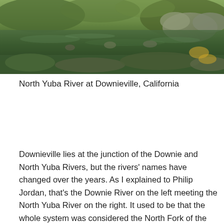[Figure (photo): Photograph of the North Yuba River at Downieville, California, showing rocky riverbed with green mossy rocks and shallow clear water surrounded by vegetation.]
North Yuba River at Downieville, California
Downieville lies at the junction of the Downie and North Yuba Rivers, but the rivers' names have changed over the years. As I explained to Philip Jordan, that's the Downie River on the left meeting the North Yuba River on the right. It used to be that the whole system was considered the North Fork of the Yuba River and the confluence in the picture would be the North Fork of the North Fork of the Yuba meeting the South Fork of the North Fork of the Yuba River. But that just confused everyone so they renamed one of the tributaries the Downie River, and the North Fork of the Yuba River became just the North Yuba